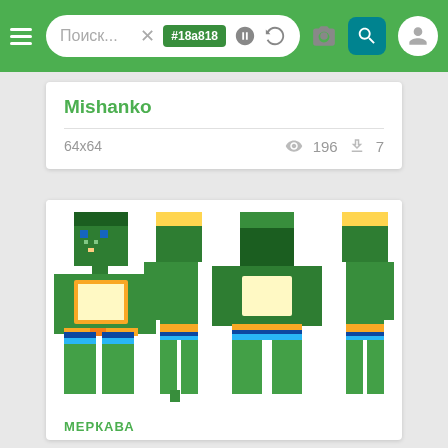[Figure (screenshot): Mobile app navigation bar with hamburger menu, search box showing 'Поиск...' placeholder and '#18a818' color badge, plus icons for color, camera, search, and user avatar]
Mishanko
64x64
196
7
[Figure (illustration): Four views of a Minecraft character skin in green colors - front, back-left, back, and right views of a pixelated humanoid character with green body, light green/cream belly, light blue shorts, and dark green hair]
МЕРКАВА